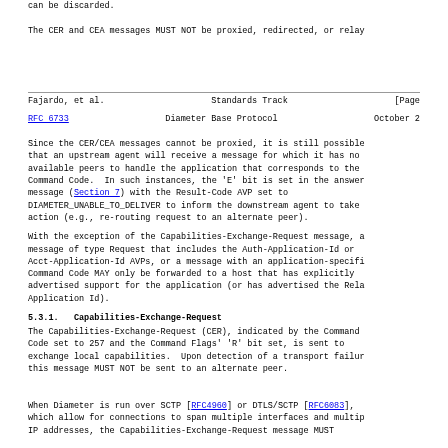can be discarded.

The CER and CEA messages MUST NOT be proxied, redirected, or relay
Fajardo, et al.                Standards Track                [Page
RFC 6733                   Diameter Base Protocol              October 2
Since the CER/CEA messages cannot be proxied, it is still possible that an upstream agent will receive a message for which it has no available peers to handle the application that corresponds to the Command Code. In such instances, the 'E' bit is set in the answer message (Section 7) with the Result-Code AVP set to DIAMETER_UNABLE_TO_DELIVER to inform the downstream agent to take action (e.g., re-routing request to an alternate peer).

With the exception of the Capabilities-Exchange-Request message, a message of type Request that includes the Auth-Application-Id or Acct-Application-Id AVPs, or a message with an application-specific Command Code MAY only be forwarded to a host that has explicitly advertised support for the application (or has advertised the Relay Application Id).
5.3.1.  Capabilities-Exchange-Request
The Capabilities-Exchange-Request (CER), indicated by the Command Code set to 257 and the Command Flags' 'R' bit set, is sent to exchange local capabilities. Upon detection of a transport failure this message MUST NOT be sent to an alternate peer.
When Diameter is run over SCTP [RFC4960] or DTLS/SCTP [RFC6083], which allow for connections to span multiple interfaces and multiple IP addresses, the Capabilities-Exchange-Request message MUST